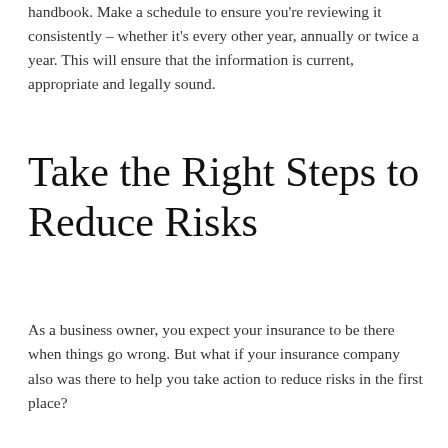handbook. Make a schedule to ensure you're reviewing it consistently – whether it's every other year, annually or twice a year. This will ensure that the information is current, appropriate and legally sound.
Take the Right Steps to Reduce Risks
As a business owner, you expect your insurance to be there when things go wrong. But what if your insurance company also was there to help you take action to reduce risks in the first place?